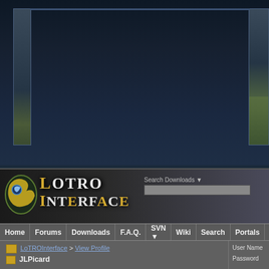[Figure (screenshot): Top dark banner area with decorative border frame and corner images]
[Figure (logo): LOTRO Interface logo with golden dragon icon and stylized text]
Search Downloads
Home | Forums | Downloads | F.A.Q. | SVN | Wiki | Search | Portals | Regis...
LoTROInterface > View Profile | JLPicard
User Name | Password
View Profile: JLPicard
JLPicard
The Wary
[Figure (photo): Avatar image of a female character with brown hair from LOTRO game]
Last Activity: 05-26-